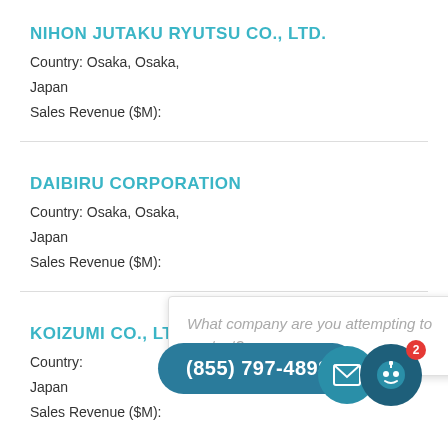NIHON JUTAKU RYUTSU CO., LTD.
Country: Osaka, Osaka,
Japan
Sales Revenue ($M):
DAIBIRU CORPORATION
Country: Osaka, Osaka,
Japan
Sales Revenue ($M):
KOIZUMI CO., LTD.
Country:
Japan
Sales Revenue ($M):